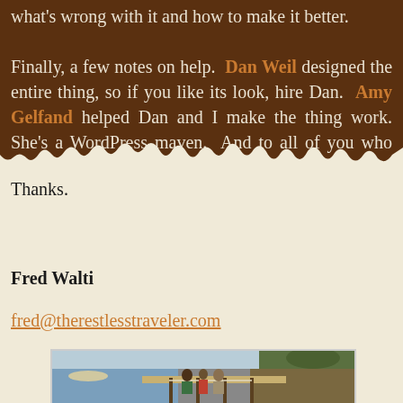what's wrong with it and how to make it better. Finally, a few notes on help. Dan Weil designed the entire thing, so if you like its look, hire Dan. Amy Gelfand helped Dan and I make the thing work. She's a WordPress maven. And to all of you who said, "do it!" Thanks.
Fred Walti
fred@therestlesstraveler.com
[Figure (photo): Outdoor photo of a wooden dock/pier with people standing on it, water and boats on the left, rocky cliff with trees on the right.]